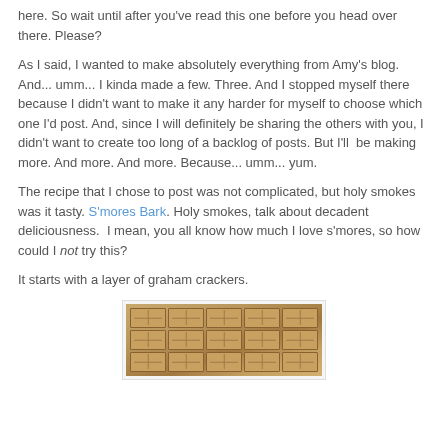here. So wait until after you've read this one before you head over there. Please?
As I said, I wanted to make absolutely everything from Amy's blog. And... umm... I kinda made a few. Three. And I stopped myself there because I didn't want to make it any harder for myself to choose which one I'd post. And, since I will definitely be sharing the others with you, I didn't want to create too long of a backlog of posts. But I'll  be making more. And more. And more. Because... umm... yum.
The recipe that I chose to post was not complicated, but holy smokes was it tasty. S'mores Bark. Holy smokes, talk about decadent deliciousness.  I mean, you all know how much I love s'mores, so how could I not try this?
It starts with a layer of graham crackers.
[Figure (photo): A baking tray lined with graham crackers arranged in a grid pattern, viewed from above at an angle.]